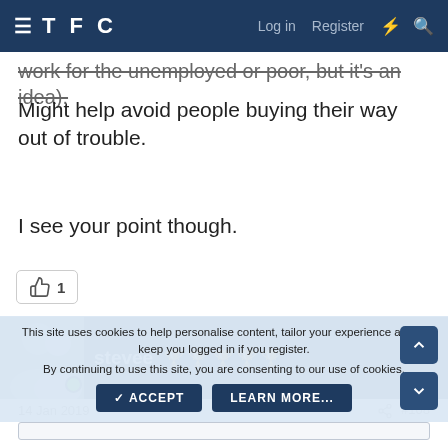TFC  Log in  Register
work for the unemployed or poor, but it's an idea). Might help avoid people buying their way out of trouble.
I see your point though.
👍 1
stevee 🏆🏆🏆🏆🏆
14 Jan 2019  #108
This site uses cookies to help personalise content, tailor your experience and to keep you logged in if you register. By continuing to use this site, you are consenting to our use of cookies.
✓ ACCEPT   LEARN MORE...